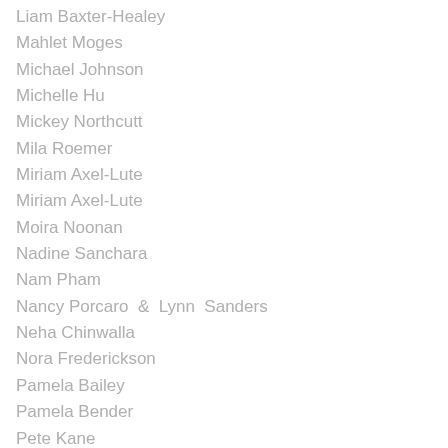Liam Baxter-Healey
Mahlet Moges
Michael Johnson
Michelle Hu
Mickey Northcutt
Mila Roemer
Miriam Axel-Lute
Miriam Axel-Lute
Moira Noonan
Nadine Sanchara
Nam Pham
Nancy Porcaro  &  Lynn  Sanders
Neha Chinwalla
Nora Frederickson
Pamela Bailey
Pamela Bender
Pete Kane
Peter Lowy
Philippe Jordi